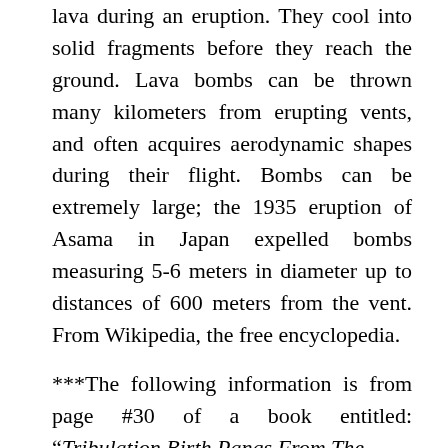lava during an eruption. They cool into solid fragments before they reach the ground. Lava bombs can be thrown many kilometers from erupting vents, and often acquires aerodynamic shapes during their flight. Bombs can be extremely large; the 1935 eruption of Asama in Japan expelled bombs measuring 5-6 meters in diameter up to distances of 600 meters from the vent. From Wikipedia, the free encyclopedia.
***The following information is from page #30 of a book entitled: “Tribulation Birth Pangs From The